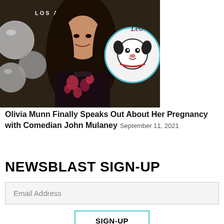[Figure (photo): Photo of Olivia Munn smiling at an event, wearing a black floral dress, with silver metallic balloons and a cartoon dog illustration in the background. Text visible: 'Los Angeles' and 'Leo'.]
Olivia Munn Finally Speaks Out About Her Pregnancy with Comedian John Mulaney September 11, 2021
NEWSBLAST SIGN-UP
Email Address
SIGN-UP